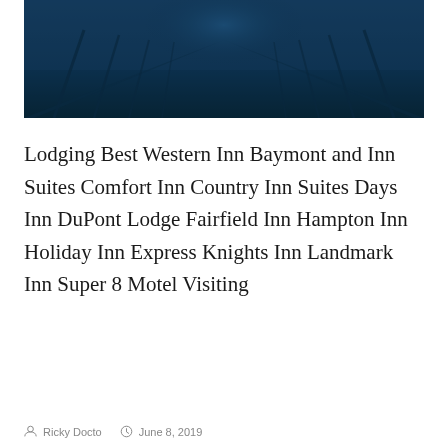[Figure (photo): Dark blue-toned photograph of a street or corridor scene with symmetrical perspective, trees or posts lining the sides, blue color cast overlay]
Lodging Best Western Inn Baymont and Inn Suites Comfort Inn Country Inn Suites Days Inn DuPont Lodge Fairfield Inn Hampton Inn Holiday Inn Express Knights Inn Landmark Inn Super 8 Motel Visiting
Ricky Docto   June 8, 2019